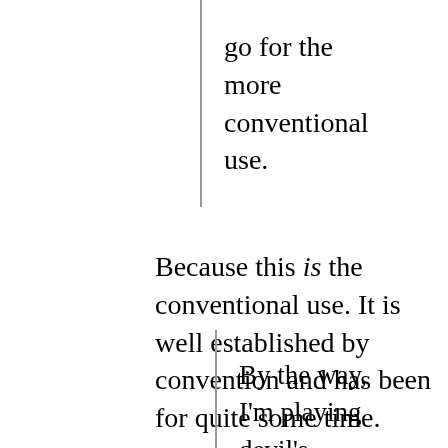go for the more conventional use.
Because this is the conventional use. It is well established by convention and has been for quite some time.
By the way, I'm playing devil's advocate . . .